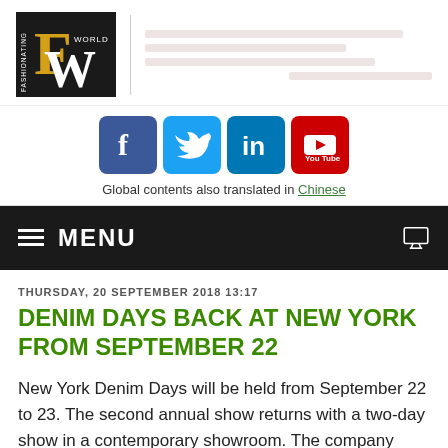[Figure (logo): Fashionating World logo - black background with FW letters in gold/yellow and white, FASHIONATING text vertically on left, WORLD text small]
[Figure (infographic): Social media icons: Facebook (blue), Twitter (light blue), LinkedIn (blue), YouTube (red) rounded square icons]
Global contents also translated in Chinese
≡ MENU
THURSDAY, 20 SEPTEMBER 2018 13:17
DENIM DAYS BACK AT NEW YORK FROM SEPTEMBER 22
New York Denim Days will be held from September 22 to 23. The second annual show returns with a two-day show in a contemporary showroom. The company returns to